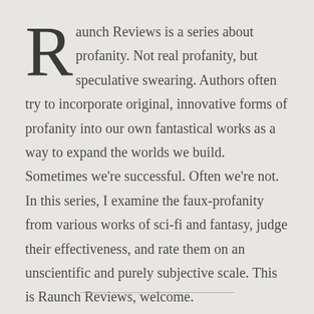Raunch Reviews is a series about profanity. Not real profanity, but speculative swearing. Authors often try to incorporate original, innovative forms of profanity into our own fantastical works as a way to expand the worlds we build. Sometimes we're successful. Often we're not. In this series, I examine the faux-profanity from various works of sci-fi and fantasy, judge their effectiveness, and rate them on an unscientific and purely subjective scale. This is Raunch Reviews, welcome.